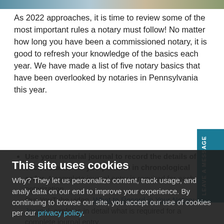[Figure (photo): Top image strip showing a decorative header image]
As 2022 approaches, it is time to review some of the most important rules a notary must follow! No matter how long you have been a commissioned notary, it is good to refresh your knowledge of the basics each year. We have made a list of five notary basics that have been overlooked by notaries in Pennsylvania this year.
Use your notarial journal to record the details of each notarial act you perform in chronological order. A complete journal entry is required for each notarization. Our YouTube video, What to Record in Your Notary Journal, explains in detail what is required for a complete journal entry.
Demand the personal appearance of all signers. Your customer must be in your presence or must appear before you via an approved communication technology. You cannot notarize for anyone who does not appear before you.
Properly identify all signers. You must identify your
This site uses cookies
Why? They let us personalize content, track usage, and analyze data on our end to improve your experience. By continuing to browse our site, you accept our use of cookies per our privacy policy.
I Accept